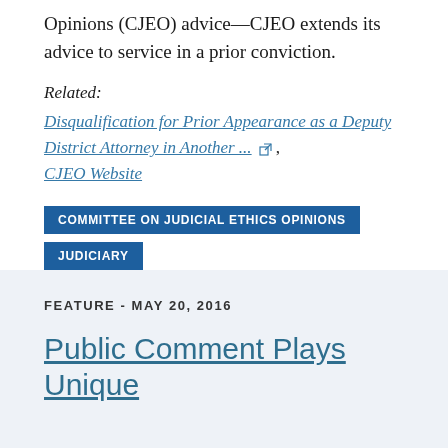Opinions (CJEO) advice—CJEO extends its advice to service in a prior conviction.
Related:
Disqualification for Prior Appearance as a Deputy District Attorney in Another ... [external link] , CJEO Website
COMMITTEE ON JUDICIAL ETHICS OPINIONS
JUDICIARY
FEATURE - MAY 20, 2016
Public Comment Plays Unique